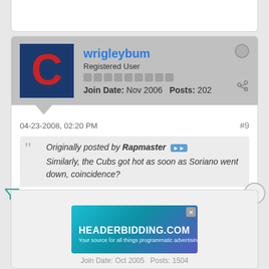wrigleybum
Registered User
Join Date: Nov 2006   Posts: 202
04-23-2008, 02:20 PM  #9
Originally posted by Rapmaster ▶▶ Similarly, the Cubs got hot as soon as Soriano went down, coincidence?
Was thinking the same thing. I think Soriano was hurting us because he was batting so poorly, but I have faith he will break out of it and just add to our hot offense.
[Figure (screenshot): HEADERBIDDING.COM advertisement banner - Your source for all things programmatic advertising.]
Join Date: Oct 2005   Posts: 1504